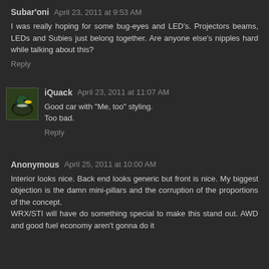Subar'oni April 23, 2011 at 9:53 AM
I was really hoping for some bug-eyes and LED's. Projectors beams, LEDs and Subies just belong together. Are anyone else's nipples hard while talking about this?
Reply
[Figure (photo): Avatar image of a mallard duck with yellow beak]
iQuack April 23, 2011 at 11:07 AM
Good car with "Me, too" styling.
Too bad.
Reply
Anonymous April 25, 2011 at 10:00 AM
Interior looks nice. Back end looks generic but front is nice. My biggest objection is the damn mini-pillars and the corruption of the proportions of the concept.
WRX/STI will have do something special to make this stand out. AWD and good fuel economy aren't gonna do it